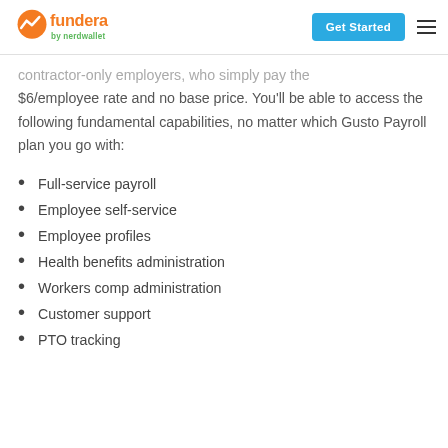Fundera by NerdWallet | Get Started
contractor-only employers, who simply pay the $6/employee rate and no base price. You'll be able to access the following fundamental capabilities, no matter which Gusto Payroll plan you go with:
Full-service payroll
Employee self-service
Employee profiles
Health benefits administration
Workers comp administration
Customer support
PTO tracking